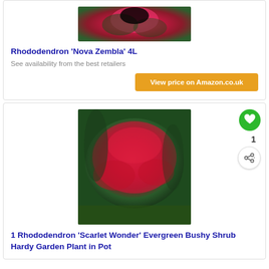[Figure (photo): Close-up photo of red Rhododendron flowers with green leaves]
Rhododendron 'Nova Zembla' 4L
See availability from the best retailers
View price on Amazon.co.uk
[Figure (photo): Large bushy shrub covered in bright red Rhododendron flowers in a garden setting]
1 Rhododendron 'Scarlet Wonder' Evergreen Bushy Shrub Hardy Garden Plant in Pot